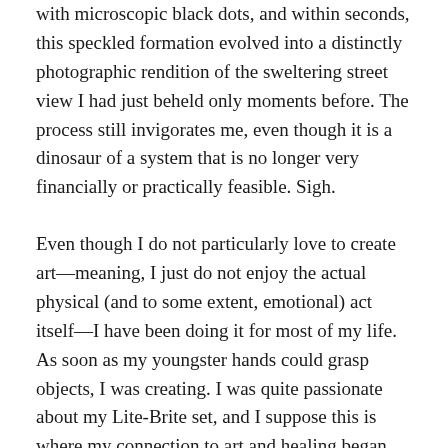with microscopic black dots, and within seconds, this speckled formation evolved into a distinctly photographic rendition of the sweltering street view I had just beheld only moments before. The process still invigorates me, even though it is a dinosaur of a system that is no longer very financially or practically feasible. Sigh.
Even though I do not particularly love to create art—meaning, I just do not enjoy the actual physical (and to some extent, emotional) act itself—I have been doing it for most of my life. As soon as my youngster hands could grasp objects, I was creating. I was quite passionate about my Lite-Brite set, and I suppose this is where my connection to art and healing began. Childhood was quite stressful, fearsome, and difficult for me. And as a child attempting to manage all of the anxiety exploding within such a miniature body, art became the thing that seemed to effectively distract me and release some of the tension flooding through my nervous system. Working on my Lite-Brite canvas was a fantastic and colorful faux-